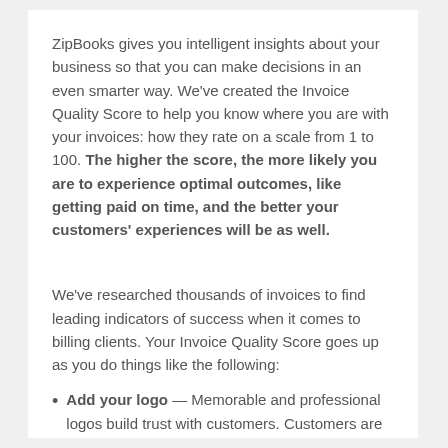ZipBooks gives you intelligent insights about your business so that you can make decisions in an even smarter way. We've created the Invoice Quality Score to help you know where you are with your invoices: how they rate on a scale from 1 to 100. The higher the score, the more likely you are to experience optimal outcomes, like getting paid on time, and the better your customers' experiences will be as well.
We've researched thousands of invoices to find leading indicators of success when it comes to billing clients. Your Invoice Quality Score goes up as you do things like the following:
Add your logo — Memorable and professional logos build trust with customers. Customers are